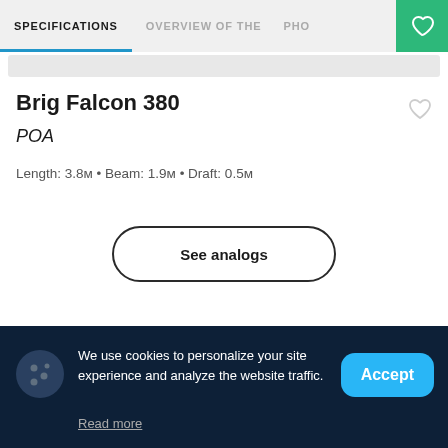SPECIFICATIONS | OVERVIEW OF THE | PHO
Brig Falcon 380
POA
Length: 3.8м • Beam: 1.9м • Draft: 0.5м
See analogs
We use cookies to personalize your site experience and analyze the website traffic.
Read more
Accept